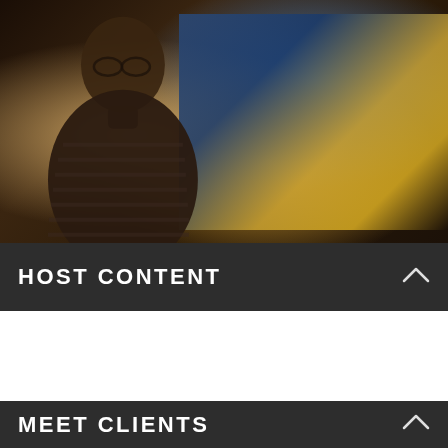[Figure (photo): A man wearing glasses and a striped polo shirt speaking at a conference or event, with a large presentation screen visible in the background showing blue and yellow colors. The image has a dark, dramatic lighting.]
HOST CONTENT
MEET CLIENTS